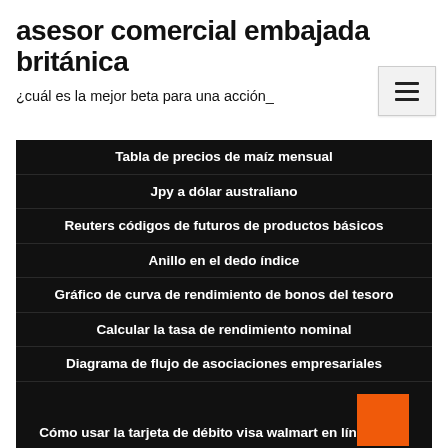asesor comercial embajada británica
¿cuál es la mejor beta para una acción_
Tabla de precios de maíz mensual
Jpy a dólar australiano
Reuters códigos de futuros de productos básicos
Anillo en el dedo índice
Gráfico de curva de rendimiento de bonos del tesoro
Calcular la tasa de rendimiento nominal
Diagrama de flujo de asociaciones empresariales
Cómo usar la tarjeta de débito visa walmart en línea
Las diez mejores plataformas de comercio de...